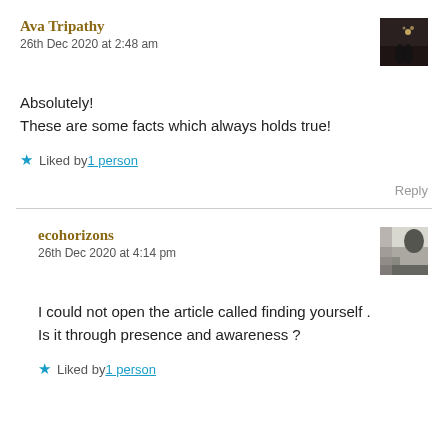Ava Tripathy
26th Dec 2020 at 2:48 am
Absolutely!
These are some facts which always holds true!
★ Liked by 1 person
Reply
ecohorizons
26th Dec 2020 at 4:14 pm
I could not open the article called finding yourself . Is it through presence and awareness ?
★ Liked by 1 person